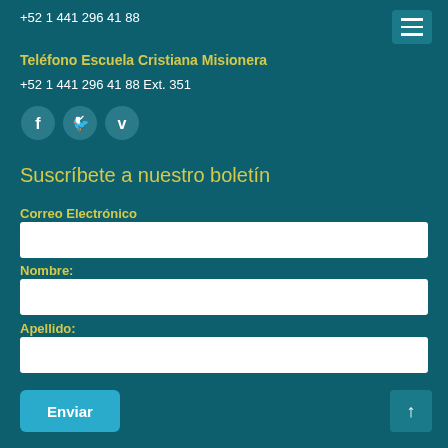+52 1 441 296 41 88
Teléfono Escuela Cristiana Misionera
+52 1 441 296 41 88 Ext. 351
[Figure (other): Social media icons: Facebook (f), Twitter (bird), Vimeo (v)]
Suscríbete a nuestro boletín
Correo Electrónico
Nombre:
Apellido:
Enviar